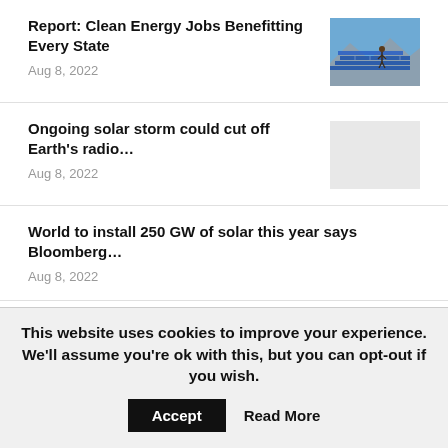Report: Clean Energy Jobs Benefitting Every State
Aug 8, 2022
Ongoing solar storm could cut off Earth's radio…
Aug 8, 2022
World to install 250 GW of solar this year says Bloomberg…
Aug 8, 2022
ACT details plan to ditch gas in shift to electric
This website uses cookies to improve your experience. We'll assume you're ok with this, but you can opt-out if you wish.
Accept   Read More